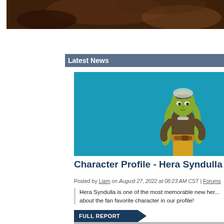[Figure (photo): Dark brown textured background image at top of page]
Latest News
[Figure (illustration): Character Profile image featuring Hera Syndulla, a green-skinned animated character with goggles and lekku head-tails, against a teal/blue background]
Character Profile - Hera Syndulla
Posted by Liam on August 27, 2022 at 08:23 AM CST | Forums
Hera Syndulla is one of the most memorable new her... about the fan favorite character in our profile!
FULL REPORT